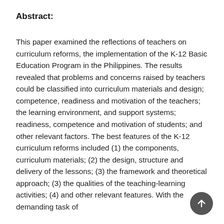Abstract:
This paper examined the reflections of teachers on curriculum reforms, the implementation of the K-12 Basic Education Program in the Philippines. The results revealed that problems and concerns raised by teachers could be classified into curriculum materials and design; competence, readiness and motivation of the teachers; the learning environment, and support systems; readiness, competence and motivation of students; and other relevant factors. The best features of the K-12 curriculum reforms included (1) the components, curriculum materials; (2) the design, structure and delivery of the lessons; (3) the framework and theoretical approach; (3) the qualities of the teaching-learning activities; (4) and other relevant features. With the demanding task of